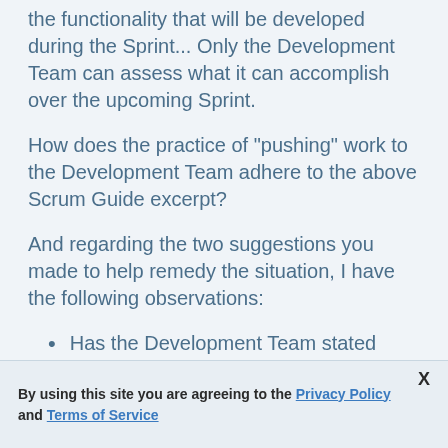the functionality that will be developed during the Sprint... Only the Development Team can assess what it can accomplish over the upcoming Sprint.
How does the practice of "pushing" work to the Development Team adhere to the above Scrum Guide excerpt?
And regarding the two suggestions you made to help remedy the situation, I have the following observations:
Has the Development Team stated
By using this site you are agreeing to the Privacy Policy and Terms of Service